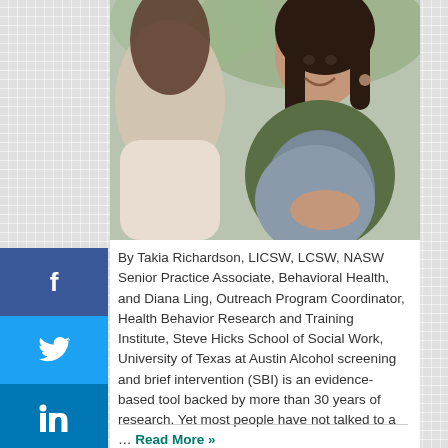[Figure (photo): A pregnant woman in a grey top and green cardigan holding her belly, sitting across from another person in a counseling or medical setting.]
By Takia Richardson, LICSW, LCSW, NASW Senior Practice Associate, Behavioral Health, and Diana Ling, Outreach Program Coordinator, Health Behavior Research and Training Institute, Steve Hicks School of Social Work, University of Texas at Austin Alcohol screening and brief intervention (SBI) is an evidence-based tool backed by more than 30 years of research. Yet most people have not talked to a … Read More »